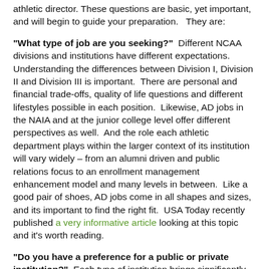athletic director. These questions are basic, yet important, and will begin to guide your preparation.   They are:
"What type of job are you seeking?"  Different NCAA divisions and institutions have different expectations. Understanding the differences between Division I, Division II and Division III is important.  There are personal and financial trade-offs, quality of life questions and different lifestyles possible in each position.  Likewise, AD jobs in the NAIA and at the junior college level offer different perspectives as well.  And the role each athletic department plays within the larger context of its institution will vary widely – from an alumni driven and public relations focus to an enrollment management enhancement model and many levels in between.  Like a good pair of shoes, AD jobs come in all shapes and sizes, and its important to find the right fit.  USA Today recently published a very informative article looking at this topic and it's worth reading.
"Do you have a preference for a public or private institution?"  Each type of institution brings significantly different expectations into play.  In particular, public institutions operate in a very open manner.  Many states